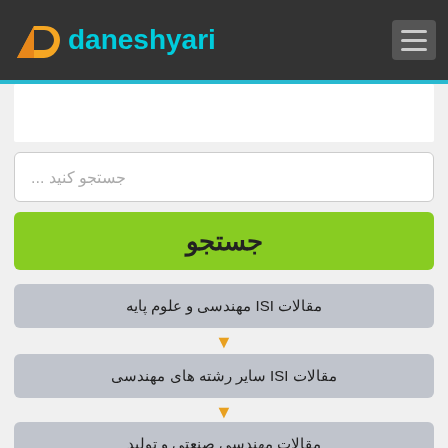[Figure (logo): Daneshyari logo with orange/yellow stylized 'd' icon and cyan text 'daneshyari' on dark header bar with hamburger menu icon]
جستجو کنید ...
جستجو
مقالات ISI مهندسی و علوم پایه
مقالات ISI سایر رشته های مهندسی
مقالات مهندسی صنعتی و تولید